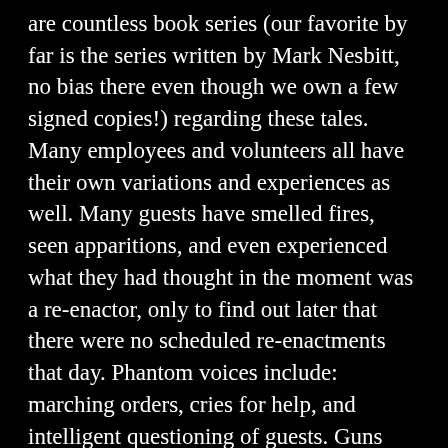are countless book series (our favorite by far is the series written by Mark Nesbitt, no bias there even though we own a few signed copies!) regarding these tales. Many employees and volunteers all have their own variations and experiences as well. Many guests have smelled fires, seen apparitions, and even experienced what they had thought in the moment was a re-enactor, only to find out later that there were no scheduled re-enactments that day. Phantom voices include: marching orders, cries for help, and intelligent questioning of guests. Guns and artillery have been heard in the distance as if thunder was rolling in, even on bright and blue-skied days. Cameras and other equipment are said to black out or blur and fail in certain spots on the battlefield as if something is taking its energy, or even simply preventing photos from being